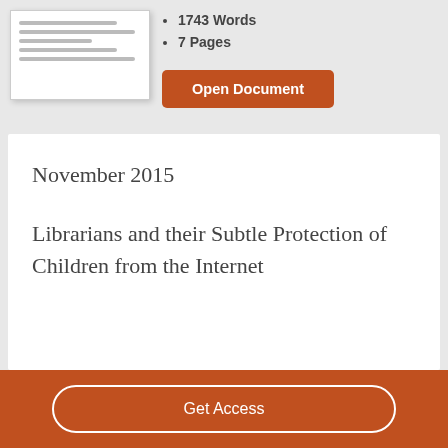[Figure (other): Document preview thumbnail showing horizontal lines representing text]
1743 Words
7 Pages
Open Document
November 2015
Librarians and their Subtle Protection of Children from the Internet
Get Access